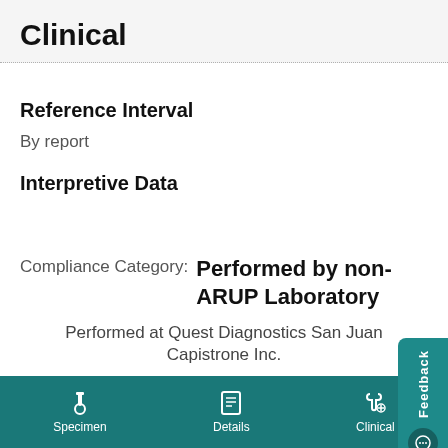Clinical
Reference Interval
By report
Interpretive Data
Compliance Category:   Performed by non-ARUP Laboratory
Performed at Quest Diagnostics San Juan Capistrano Inc.
Specimen   Details   Clinical